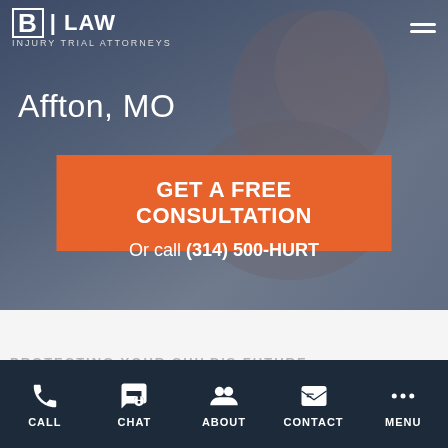B LAW INJURY TRIAL ATTORNEYS
Affton, MO
[Figure (screenshot): Hero background photo of baby being held, with dark blue overlay]
GET A FREE CONSULTATION
Or call (314) 500-HURT
CALL  CHAT  ABOUT  CONTACT  MENU